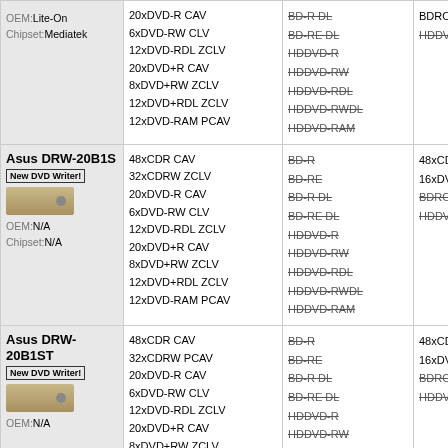| Product | Write Speeds | Unsupported Write | Read / Unsupported Read |
| --- | --- | --- | --- |
| OEM:Lite-On
Chipset:Mediatek | 20xDVD-R CAV
6xDVD-RW CLV
12xDVD-RDL ZCLV
20xDVD+R CAV
8xDVD+RW ZCLV
12xDVD+RDL ZCLV
12xDVD-RAM PCAV | BD-R DL
BD-RE DL
HDDVD-R
HDDVD-RW
HDDVD-RDL
HDDVD-RWDL
HDDVD-RAM | BDROM
HDDVD |
| Asus DRW-20B1S
New DVD Writer!
OEM:N/A
Chipset:N/A | 48xCDR CAV
32xCDRW ZCLV
20xDVD-R CAV
6xDVD-RW CLV
12xDVD-RDL ZCLV
20xDVD+R CAV
8xDVD+RW ZCLV
12xDVD+RDL ZCLV
12xDVD-RAM PCAV | BD-R
BD-RE
BD-R DL
BD-RE DL
HDDVD-R
HDDVD-RW
HDDVD-RDL
HDDVD-RWDL
HDDVD-RAM | 48xCD
16xDVD
BDROM
HDDVD |
| Asus DRW-20B1ST
New DVD Writer!
OEM:N/A | 48xCDR CAV
32xCDRW PCAV
20xDVD-R CAV
6xDVD-RW CLV
12xDVD-RDL ZCLV
20xDVD+R CAV
8xDVD+RW ZCLV | BD-R
BD-RE
BD-R DL
BD-RE DL
HDDVD-R
HDDVD-RW
HDDVD-RDL | 48xCD
16xDVD
BDROM
HDDVD |